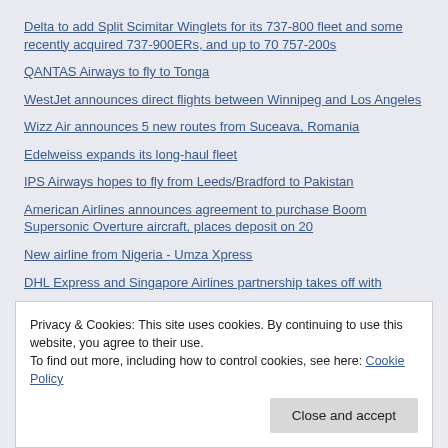Delta to add Split Scimitar Winglets for its 737-800 fleet and some recently acquired 737-900ERs, and up to 70 757-200s
QANTAS Airways to fly to Tonga
WestJet announces direct flights between Winnipeg and Los Angeles
Wizz Air announces 5 new routes from Suceava, Romania
Edelweiss expands its long-haul fleet
IPS Airways hopes to fly from Leeds/Bradford to Pakistan
American Airlines announces agreement to purchase Boom Supersonic Overture aircraft, places deposit on 20
New airline from Nigeria - Umza Xpress
DHL Express and Singapore Airlines partnership takes off with
Privacy & Cookies: This site uses cookies. By continuing to use this website, you agree to their use.
To find out more, including how to control cookies, see here: Cookie Policy
Close and accept